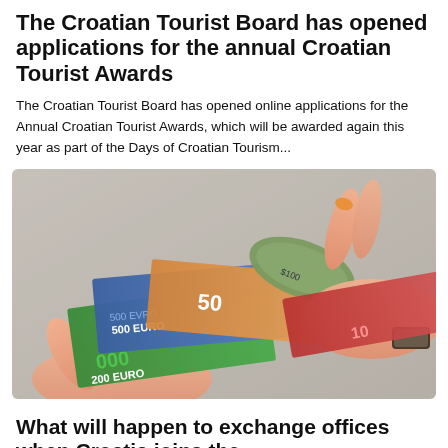The Croatian Tourist Board has opened applications for the annual Croatian Tourist Awards
The Croatian Tourist Board has opened online applications for the Annual Croatian Tourist Awards, which will be awarded again this year as part of the Days of Croatian Tourism...
[Figure (photo): Hands holding and fanning out various Euro and US dollar banknotes including 500 Euro, 200 Euro, and 50 Euro bills along with rolled US dollar bills]
What will happen to exchange offices when Croatia joins the...